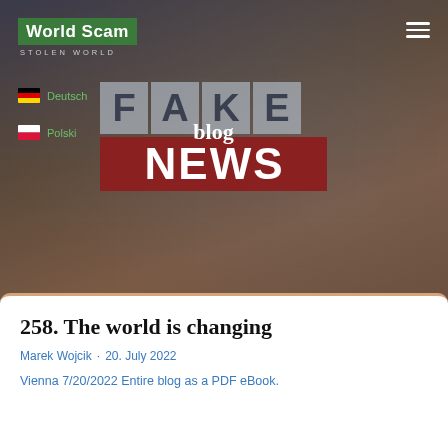World Scam · STOLEN WORLD
[Figure (screenshot): FAKE NEWS blog graphic with letter tiles spelling FAKE on gray tiles and NEWS on dark red banner, with 'blog' text overlaid in white serif font]
Deutsch
Polski
258. The world is changing
Marek Wojcik · 20. July 2022
Vienna 7/20/2022 Entire blog as a PDF eBook.